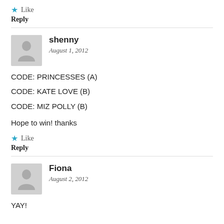★ Like
Reply
shenny
August 1, 2012
CODE: PRINCESSES (A)
CODE: KATE LOVE (B)
CODE: MIZ POLLY (B)

Hope to win! thanks
★ Like
Reply
Fiona
August 2, 2012
YAY!